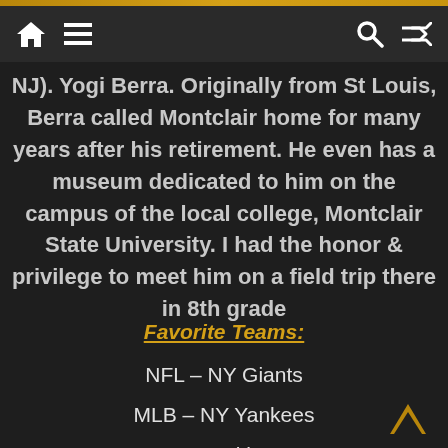Navigation bar with home, menu, search, and shuffle icons
NJ). Yogi Berra. Originally from St Louis, Berra called Montclair home for many years after his retirement. He even has a museum dedicated to him on the campus of the local college, Montclair State University. I had the honor & privilege to meet him on a field trip there in 8th grade
Favorite Teams:
NFL – NY Giants
MLB – NY Yankees
NBA – Brooklyn Nets
NHL – NJ Devils
NCAAF – Rutgers Scarlet Knights